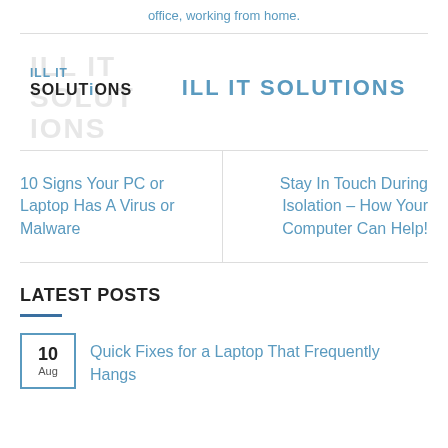office, working from home.
[Figure (logo): ILL IT SOLUTIONS logo with overlapping text layers, blue and black. Brand name 'ILL IT SOLUTIONS' in blue text to the right.]
| 10 Signs Your PC or Laptop Has A Virus or Malware | Stay In Touch During Isolation – How Your Computer Can Help! |
LATEST POSTS
10 Aug — Quick Fixes for a Laptop That Frequently Hangs